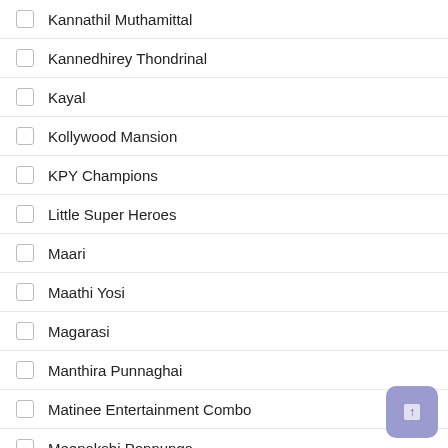Kannathil Muthamittal
Kannedhirey Thondrinal
Kayal
Kollywood Mansion
KPY Champions
Little Super Heroes
Maari
Maathi Yosi
Magarasi
Manthira Punnaghai
Matinee Entertainment Combo
Meenakshi Ponnunga
Meendum Man Vasanai
Meera